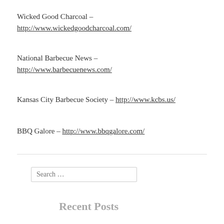Wicked Good Charcoal – http://www.wickedgoodcharcoal.com/
National Barbecue News – http://www.barbecuenews.com/
Kansas City Barbecue Society – http://www.kcbs.us/
BBQ Galore – http://www.bbqgalore.com/
Search ...
Recent Posts